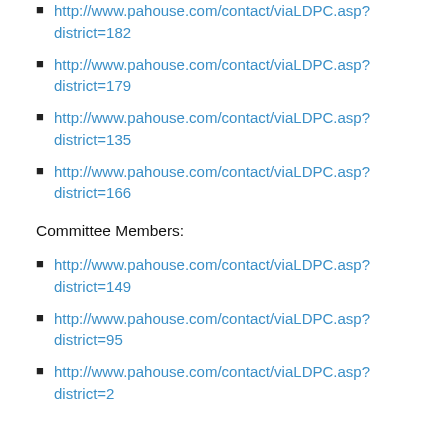http://www.pahouse.com/contact/viaLDPC.asp?district=182
http://www.pahouse.com/contact/viaLDPC.asp?district=179
http://www.pahouse.com/contact/viaLDPC.asp?district=135
http://www.pahouse.com/contact/viaLDPC.asp?district=166
Committee Members:
http://www.pahouse.com/contact/viaLDPC.asp?district=149
http://www.pahouse.com/contact/viaLDPC.asp?district=95
http://www.pahouse.com/contact/viaLDPC.asp?district=2